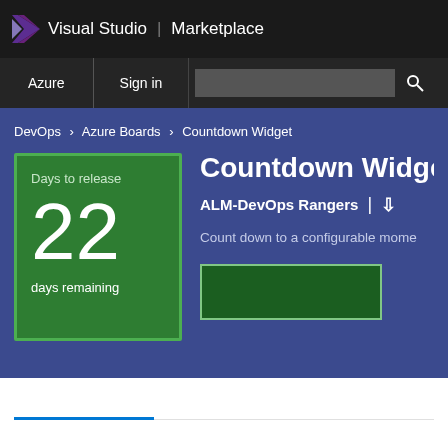Visual Studio | Marketplace
Azure  Sign in
DevOps > Azure Boards > Countdown Widget
[Figure (screenshot): Green countdown widget box showing 'Days to release', number 22, and 'days remaining']
Countdown Widget
ALM-DevOps Rangers |
Count down to a configurable mome...
[Figure (screenshot): Green install/get button with border]